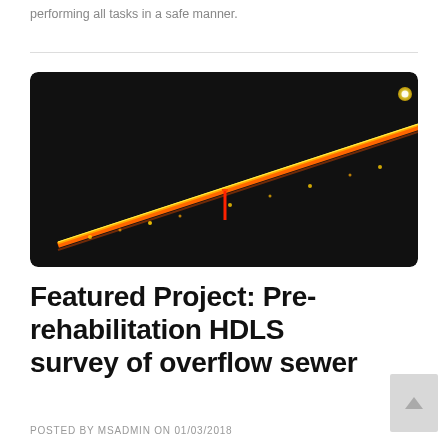performing all tasks in a safe manner.
[Figure (photo): Dark background image showing a sewer pipe scan/HDLS survey result. A diagonal orange/yellow line runs from lower-left to upper-right across the black background, representing the sewer pipe. A small red vertical marker appears near the center of the image. The top-right corner shows a bright yellow dot.]
Featured Project: Pre-rehabilitation HDLS survey of overflow sewer
POSTED BY MSADMIN ON 01/03/2018